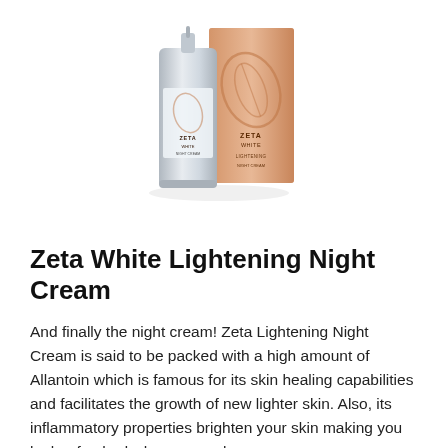[Figure (photo): Product photo of Zeta White Lightening Night Cream: a silver pump bottle and a peach/copper-colored box with a leaf motif and the Zeta White brand name.]
Zeta White Lightening Night Cream
And finally the night cream! Zeta Lightening Night Cream is said to be packed with a high amount of Allantoin which is famous for its skin healing capabilities and facilitates the growth of new lighter skin. Also, its inflammatory properties brighten your skin making you look refreshed when you wake up.
As per the product name, you may apply this cream at night in